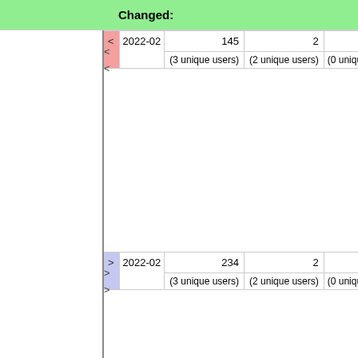Changed:
|  | Date | Count1 | Count2 | Users |
| --- | --- | --- | --- | --- |
| <
< | 2022-02 | 145
(3 unique users) | 2
(2 unique users) | (0 unique users) |
| >
> | 2022-02 | 234
(3 unique users) | 2
(2 unique users) | (0 unique users) |